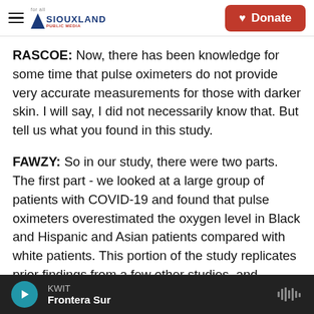Siouxland Public Media — Donate
RASCOE: Now, there has been knowledge for some time that pulse oximeters do not provide very accurate measurements for those with darker skin. I will say, I did not necessarily know that. But tell us what you found in this study.
FAWZY: So in our study, there were two parts. The first part - we looked at a large group of patients with COVID-19 and found that pulse oximeters overestimated the oxygen level in Black and Hispanic and Asian patients compared with white patients. This portion of the study replicates prior findings from a few other studies, and replication's
KWIT — Frontera Sur